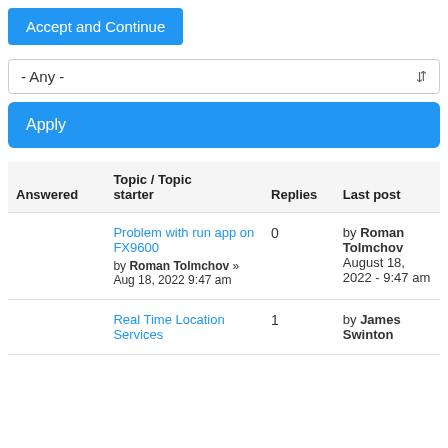Accept and Continue
- Any -
Apply
| Answered | Topic / Topic starter | Replies | Last post |
| --- | --- | --- | --- |
|  | Problem with run app on FX9600
by Roman Tolmchov » Aug 18, 2022 9:47 am | 0 | by Roman Tolmchov
August 18, 2022 - 9:47 am |
|  | Real Time Location Services | 1 | by James Swinton |